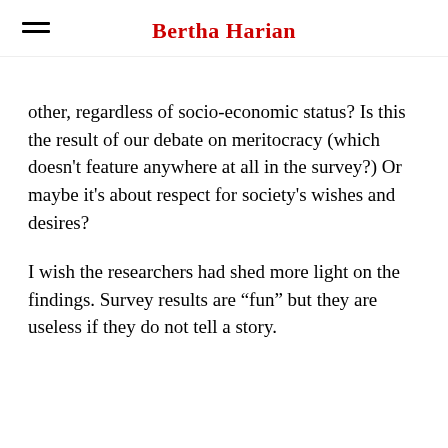Bertha Harian
other, regardless of socio-economic status? Is this the result of our debate on meritocracy (which doesn’t feature anywhere at all in the survey?) Or maybe it’s about respect for society’s wishes and desires?
I wish the researchers had shed more light on the findings. Survey results are “fun” but they are useless if they do not tell a story.